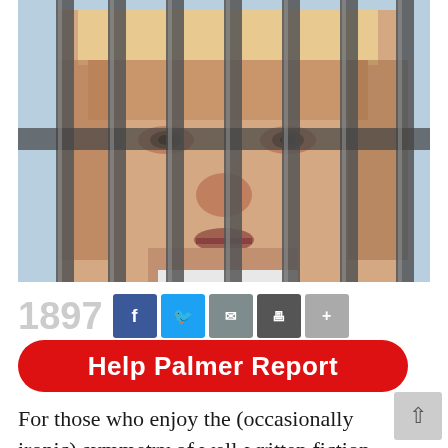[Figure (photo): A person's face visible through vertical metal jail bars, composited photo. The face fills the frame behind dark grey bars.]
1897
[Figure (infographic): Social media share buttons: Facebook (blue), Twitter (light blue), Email (grey), Print (dark grey), Share (light grey)]
Help Palmer Report
For those who enjoy the (occasionally ironic) symmetry of well-written fiction,